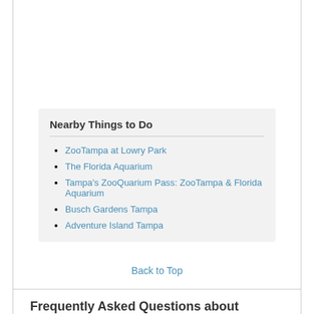Nearby Things to Do
ZooTampa at Lowry Park
The Florida Aquarium
Tampa's ZooQuarium Pass: ZooTampa & Florida Aquarium
Busch Gardens Tampa
Adventure Island Tampa
Back to Top
Frequently Asked Questions about